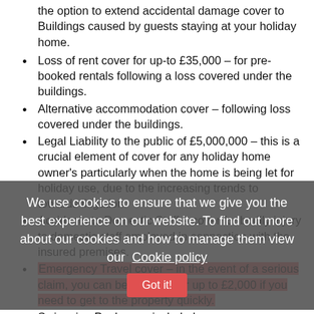the option to extend accidental damage cover to Buildings caused by guests staying at your holiday home.
Loss of rent cover for up-to £35,000 – for pre-booked rentals following a loss covered under the buildings.
Alternative accommodation cover – following loss covered under the buildings.
Legal Liability to the public of £5,000,000 – this is a crucial element of cover for any holiday home owner's particularly when the home is being let for holiday use, due to the increasing trends to towards litigation.
Accidents to Domestic Staff – cover for bodily injury to domestic staff employed in connection with the insured premises.
Emergency Travel cover – in the event of a serious claim, you can be covered for up to £2,000 if you need to get to the property quickly.
Swimming Pool cover included – cover automatically included under buildings insurance along with Legal
We use cookies to ensure that we give you the best experience on our website. To find out more about our cookies and how to manage them view our Cookie policy